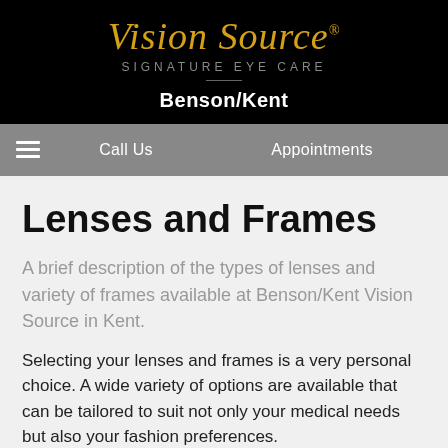[Figure (logo): Vision Source Signature Eye Care logo in gold italic script on black background]
Benson/Kent
Call Us   Appointments
Lenses and Frames
A brief description of the types of lenses and variety of frames available at Benson/Kent Vision Source in Kent.
Selecting your lenses and frames is a very personal choice. A wide variety of options are available that can be tailored to suit not only your medical needs but also your fashion preferences.